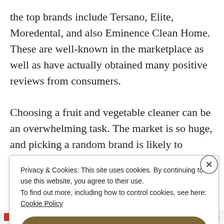the top brands include Tersano, Elite, Moredental, and also Eminence Clean Home. These are well-known in the marketplace as well as have actually obtained many positive reviews from consumers.

Choosing a fruit and vegetable cleaner can be an overwhelming task. The market is so huge, and picking a random brand is likely to generate much less than desirable outcomes. This is why it is crucial to select a
Privacy & Cookies: This site uses cookies. By continuing to use this website, you agree to their use.
To find out more, including how to control cookies, see here:
Cookie Policy
Close and accept